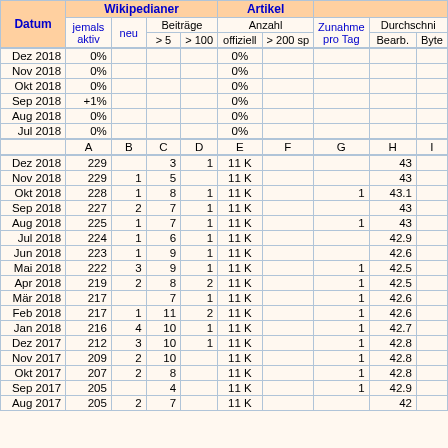| Datum | jemals aktiv | neu | Beiträge > 5 | Beiträge > 100 | Anzahl offiziell | Anzahl > 200 sp | Zunahme pro Tag | Durchschnitt Bearb. | Byte |
| --- | --- | --- | --- | --- | --- | --- | --- | --- | --- |
| Dez 2018 | 0% |  |  |  | 0% |  |  |  |  |
| Nov 2018 | 0% |  |  |  | 0% |  |  |  |  |
| Okt 2018 | 0% |  |  |  | 0% |  |  |  |  |
| Sep 2018 | +1% |  |  |  | 0% |  |  |  |  |
| Aug 2018 | 0% |  |  |  | 0% |  |  |  |  |
| Jul 2018 | 0% |  |  |  | 0% |  |  |  |  |
|  | A | B | C | D | E | F | G | H | I |
| Dez 2018 | 229 |  | 3 | 1 | 11 K |  |  | 43 |  |
| Nov 2018 | 229 | 1 | 5 |  | 11 K |  |  | 43 |  |
| Okt 2018 | 228 | 1 | 8 | 1 | 11 K |  | 1 | 43.1 |  |
| Sep 2018 | 227 | 2 | 7 | 1 | 11 K |  |  | 43 |  |
| Aug 2018 | 225 | 1 | 7 | 1 | 11 K |  | 1 | 43 |  |
| Jul 2018 | 224 | 1 | 6 | 1 | 11 K |  |  | 42.9 |  |
| Jun 2018 | 223 | 1 | 9 | 1 | 11 K |  |  | 42.6 |  |
| Mai 2018 | 222 | 3 | 9 | 1 | 11 K |  | 1 | 42.5 |  |
| Apr 2018 | 219 | 2 | 8 | 2 | 11 K |  | 1 | 42.5 |  |
| Mär 2018 | 217 |  | 7 | 1 | 11 K |  | 1 | 42.6 |  |
| Feb 2018 | 217 | 1 | 11 | 2 | 11 K |  | 1 | 42.6 |  |
| Jan 2018 | 216 | 4 | 10 | 1 | 11 K |  | 1 | 42.7 |  |
| Dez 2017 | 212 | 3 | 10 | 1 | 11 K |  | 1 | 42.8 |  |
| Nov 2017 | 209 | 2 | 10 |  | 11 K |  | 1 | 42.8 |  |
| Okt 2017 | 207 | 2 | 8 |  | 11 K |  | 1 | 42.8 |  |
| Sep 2017 | 205 |  | 4 |  | 11 K |  | 1 | 42.9 |  |
| Aug 2017 | 205 | 2 | 7 |  | 11 K |  |  | 42 |  |